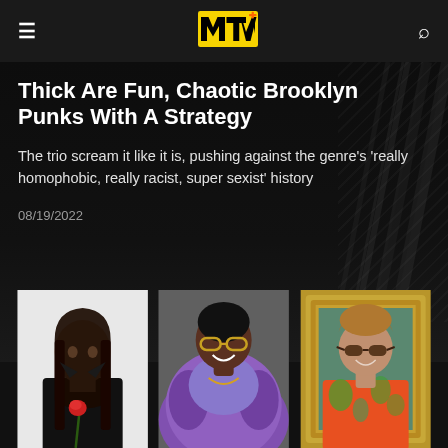MTV
Thick Are Fun, Chaotic Brooklyn Punks With A Strategy
The trio scream it like it is, pushing against the genre's 'really homophobic, really racist, super sexist' history
08/19/2022
[Figure (photo): Three panel photo collage: left panel shows a young woman with long dark hair wearing a black blazer holding a red rose; center panel shows a person in a purple fur coat and shiny purple top with glasses smiling; right panel shows a young man with wavy hair wearing sunglasses and a colorful tropical shirt, posed in front of an ornate gold background.]